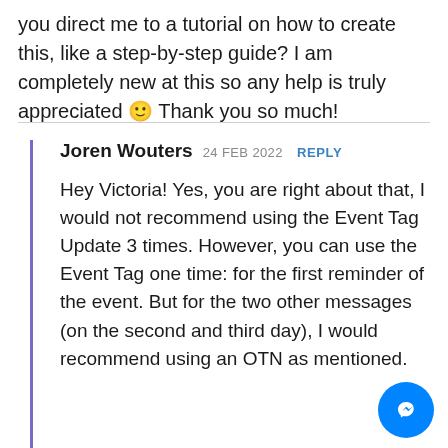you direct me to a tutorial on how to create this, like a step-by-step guide? I am completely new at this so any help is truly appreciated 🙂 Thank you so much!
Joren Wouters 24 FEB 2022 REPLY
Hey Victoria! Yes, you are right about that, I would not recommend using the Event Tag Update 3 times. However, you can use the Event Tag one time: for the first reminder of the event. But for the two other messages (on the second and third day), I would recommend using an OTN as mentioned.